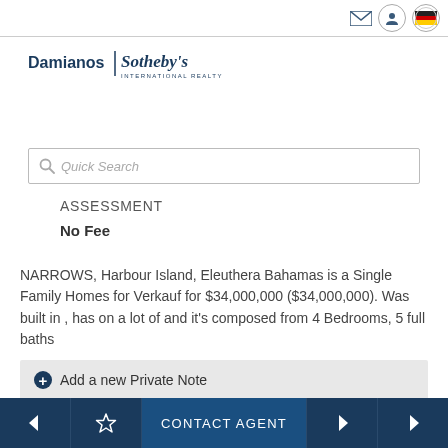[Figure (logo): Damianos Sotheby's International Realty logo with envelope icon, user icon, and German flag icon in top navigation bar]
[Figure (screenshot): Quick Search input field with magnifying glass icon]
ASSESSMENT
No Fee
NARROWS, Harbour Island, Eleuthera Bahamas is a Single Family Homes for Verkauf for $34,000,000 ($34,000,000). Was built in , has on a lot of and it's composed from 4 Bedrooms, 5 full baths
+ Add a new Private Note
CONTACT AGENT